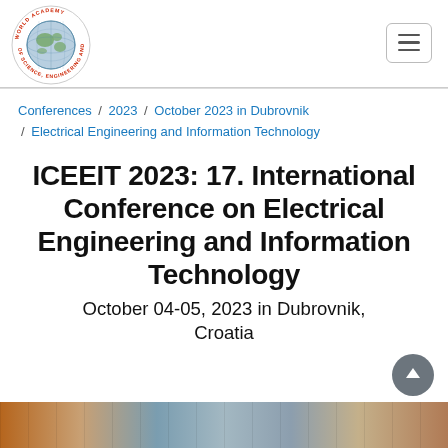[Figure (logo): World Academy of Science, Engineering and Technology circular logo with globe in center]
Conferences / 2023 / October 2023 in Dubrovnik / Electrical Engineering and Information Technology
ICEEIT 2023: 17. International Conference on Electrical Engineering and Information Technology
October 04-05, 2023 in Dubrovnik, Croatia
[Figure (photo): Bottom strip showing conference attendees photos]